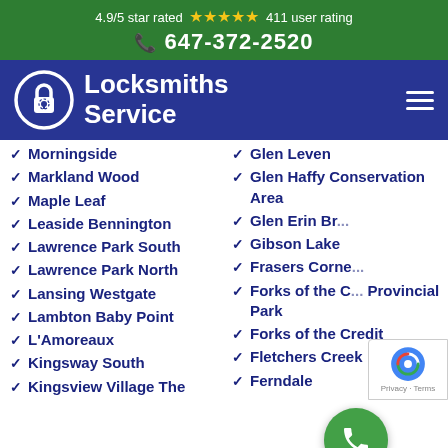4.9/5 star rated ★★★★★ 411 user rating
647-372-2520
[Figure (logo): Locksmiths Service logo with lock icon and white text on dark blue background]
Morningside
Glen Leven
Markland Wood
Glen Haffy Conservation Area
Maple Leaf
Glen Erin Br...
Leaside Bennington
Gibson Lake
Lawrence Park South
Frasers Corne...
Lawrence Park North
Forks of the C... Provincial Park
Lansing Westgate
Lambton Baby Point
Forks of the Credit
L'Amoreaux
Fletchers Creek
Kingsway South
Ferndale
Kingsview Village The